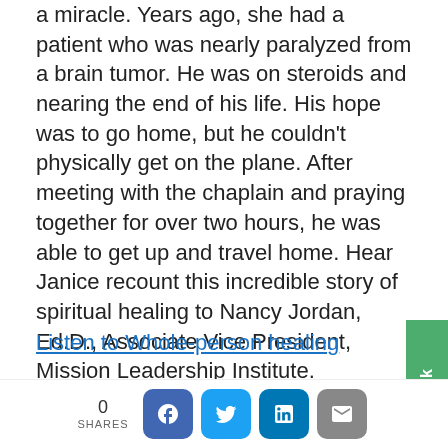a miracle. Years ago, she had a patient who was nearly paralyzed from a brain tumor. He was on steroids and nearing the end of his life. His hope was to go home, but he couldn't physically get on the plane. After meeting with the chaplain and praying together for over two hours, he was able to get up and travel home. Hear Janice recount this incredible story of spiritual healing to Nancy Jordan, Ed.D., Associate Vice President, Mission Leadership Institute.
Listen to Whole-person healing
“I’m not ready for palliative
0 SHARES